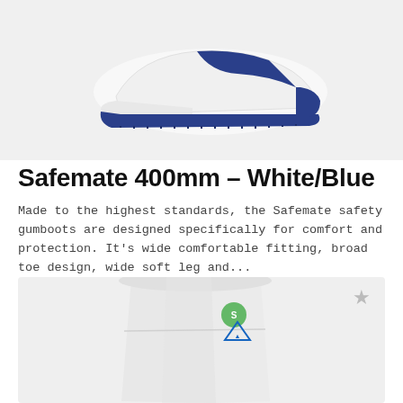[Figure (photo): White and blue safety shoe/gumboot viewed from the side, showing blue sole, on a light grey background]
Safemate 400mm – White/Blue
Made to the highest standards, the Safemate safety gumboots are designed specifically for comfort and protection. It's wide comfortable fitting, broad toe design, wide soft leg and…
[Figure (photo): White tall safety gumboot (400mm) shown from the front/side, with a green and blue triangular safety compliance label visible, against a light grey background. A star/bookmark icon appears in the top right corner.]